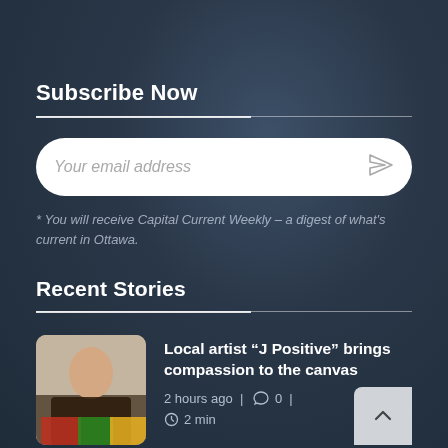Subscribe Now
Your email address
* You will receive Capital Current Weekly – a digest of what's current in Ottawa.
Recent Stories
Local artist “J Positive” brings compassion to the canvas
2 hours ago | 0 | 2 min